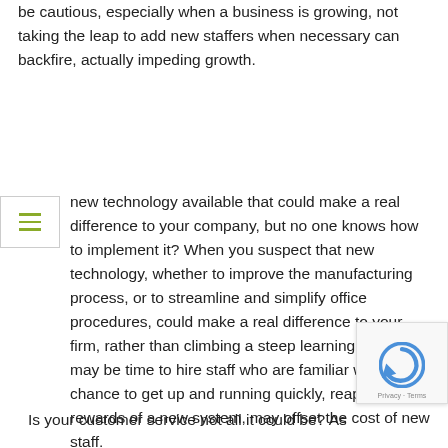be cautious, especially when a business is growing, not taking the leap to add new staffers when necessary can backfire, actually impeding growth.
new technology available that could make a real difference to your company, but no one knows how to implement it? When you suspect that new technology, whether to improve the manufacturing process, or to streamline and simplify office procedures, could make a real difference to your firm, rather than climbing a steep learning curve, it may be time to hire staff who are familiar with it. The chance to get up and running quickly, reaping the rewards of a new system, may offset the cost of new staff.
Is your customer service not all it could be? As